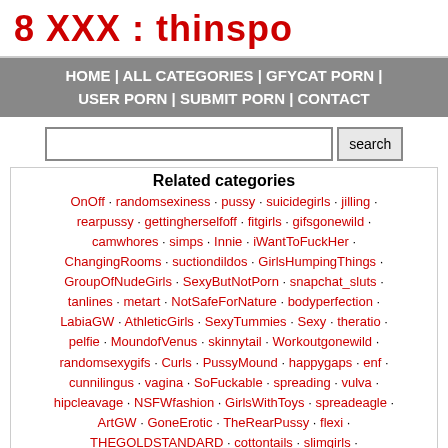8 XXX : thinspo
HOME | ALL CATEGORIES | GFYCAT PORN | USER PORN | SUBMIT PORN | CONTACT
search
Related categories
OnOff · randomsexiness · pussy · suicidegirls · jilling · rearpussy · gettingherselfoff · fitgirls · gifsgonewild · camwhores · simps · Innie · iWantToFuckHer · ChangingRooms · suctiondildos · GirlsHumpingThings · GroupOfNudeGirls · SexyButNotPorn · snapchat_sluts · tanlines · metart · NotSafeForNature · bodyperfection · LabiaGW · AthleticGirls · SexyTummies · Sexy · theratio · pelfie · MoundofVenus · skinnytail · Workoutgonewild · randomsexygifs · Curls · PussyMound · happygaps · enf · cunnilingus · vagina · SoFuckable · spreading · vulva · hipcleavage · NSFWfashion · GirlsWithToys · spreadeagle · ArtGW · GoneErotic · TheRearPussy · flexi · THEGOLDSTANDARD · cottontails · slimgirls · NowYouReallySeeMe · jilling_under_panties · Bathing · OpenShirt · SUMMERtimeheat · HardBoltOns · GirlswithBodypaint · BetterThanPorn · HaveToHaveHer · lifeisabeach · Lordosis · Hotness · GirlsInMessyRooms · Strippersonthejob · Aparthigh · WomenLookingDown · HotGirls · monokini · nofunnyporn · skirtnoshirt · Pink